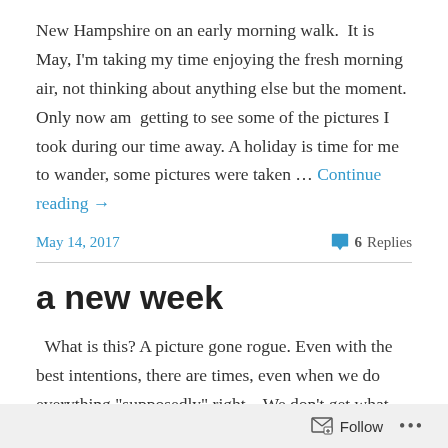New Hampshire on an early morning walk.  It is May, I'm taking my time enjoying the fresh morning air, not thinking about anything else but the moment. Only now am  getting to see some of the pictures I took during our time away. A holiday is time for me to wander, some pictures were taken … Continue reading →
May 14, 2017
6 Replies
a new week
What is this? A picture gone rogue. Even with the best intentions, there are times, even when we do everything "supposedly" right... We don't get what we were expecting. Happens. Do we worry, stress about it. Of course not, we